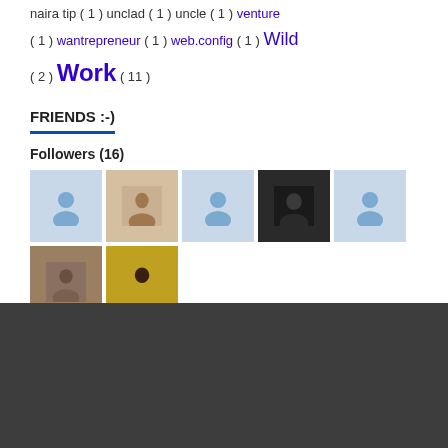naira tip ( 1 ) unclad ( 1 ) uncle ( 1 ) venture ( 1 ) wantrepreneur ( 1 ) web.config ( 1 ) Wild ( 2 ) Work ( 11 )
FRIENDS :-)
Followers (16)
[Figure (photo): Grid of 16 follower profile photos/avatars in three rows]
[Figure (other): Follow button]